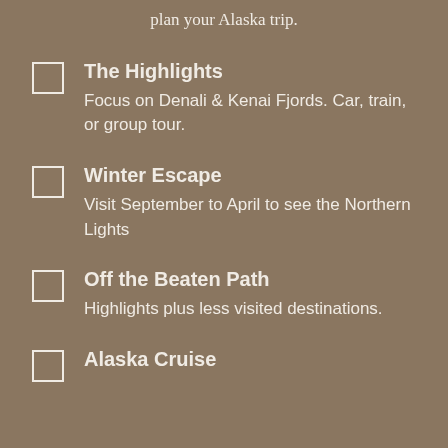plan your Alaska trip.
The Highlights
Focus on Denali & Kenai Fjords. Car, train, or group tour.
Winter Escape
Visit September to April to see the Northern Lights
Off the Beaten Path
Highlights plus less visited destinations.
Alaska Cruise